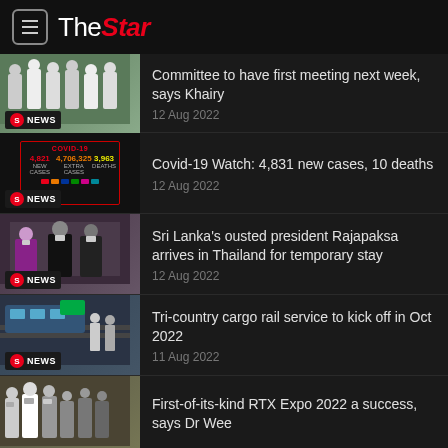The Star
Committee to have first meeting next week, says Khairy — 12 Aug 2022
Covid-19 Watch: 4,831 new cases, 10 deaths — 12 Aug 2022
Sri Lanka's ousted president Rajapaksa arrives in Thailand for temporary stay — 12 Aug 2022
Tri-country cargo rail service to kick off in Oct 2022 — 11 Aug 2022
First-of-its-kind RTX Expo 2022 a success, says Dr Wee